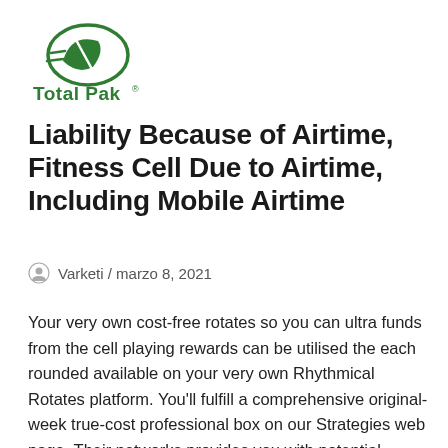[Figure (logo): Total Pak logo with green stylized leaf/speed icon and green bold text 'Total Pak' with registered trademark symbol]
Liability Because of Airtime, Fitness Cell Due to Airtime, Including Mobile Airtime
Varketi / marzo 8, 2021
Your very own cost-free rotates so you can ultra funds from the cell playing rewards can be utilised the each rounded available on your very own Rhythmical Rotates platform. You'll fulfill a comprehensive original-week true-cost professional box on our Strategies web page. Their networks provides you with potential customers your own